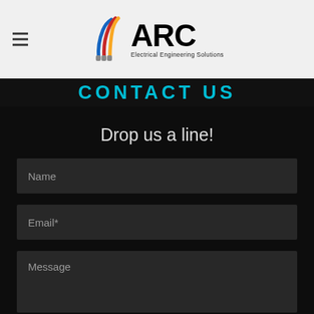ARC Electrical Engineering Solutions
CONTACT US
Drop us a line!
Name
Email*
Message